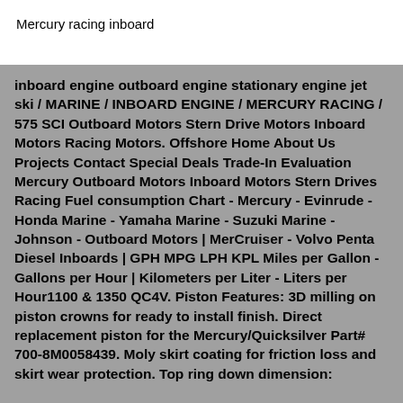Mercury racing inboard
inboard engine outboard engine stationary engine jet ski / MARINE / INBOARD ENGINE / MERCURY RACING / 575 SCI Outboard Motors Stern Drive Motors Inboard Motors Racing Motors. Offshore Home About Us Projects Contact Special Deals Trade-In Evaluation Mercury Outboard Motors Inboard Motors Stern Drives Racing Fuel consumption Chart - Mercury - Evinrude - Honda Marine - Yamaha Marine - Suzuki Marine - Johnson - Outboard Motors | MerCruiser - Volvo Penta Diesel Inboards | GPH MPG LPH KPL Miles per Gallon - Gallons per Hour | Kilometers per Liter - Liters per Hour1100 & 1350 QC4V. Piston Features: 3D milling on piston crowns for ready to install finish. Direct replacement piston for the Mercury/Quicksilver Part# 700-8M0058439. Moly skirt coating for friction loss and skirt wear protection. Top ring down dimension: